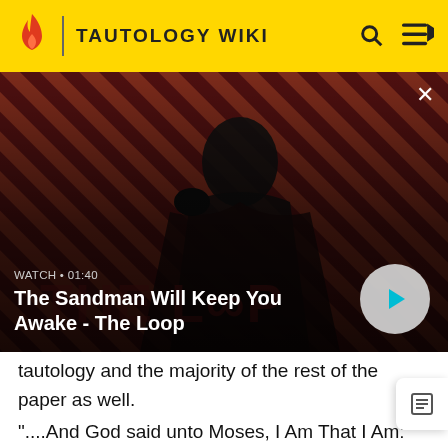TAUTOLOGY WIKI
[Figure (screenshot): Video thumbnail showing a dark-clad figure with a raven on shoulder against a red diagonal stripe background. Overlay text: WATCH • 01:40 / The Sandman Will Keep You Awake - The Loop]
tautology and the majority of the rest of the paper as well.
"....And God said unto Moses, I Am That I Am: and he said, Thus shalt thou say unto the children of Israel, I Am hath sent me unto you. And God said moreover unto Moses